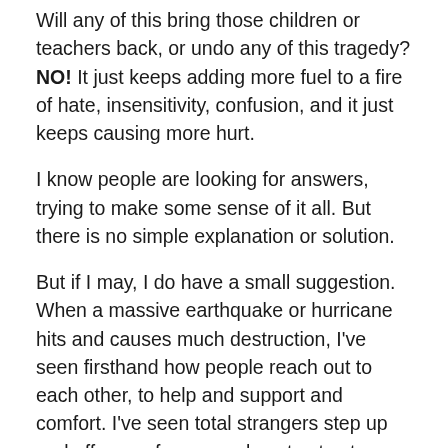Will any of this bring those children or teachers back, or undo any of this tragedy? NO! It just keeps adding more fuel to a fire of hate, insensitivity, confusion, and it just keeps causing more hurt.
I know people are looking for answers, trying to make some sense of it all. But there is no simple explanation or solution.
But if I may, I do have a small suggestion. When a massive earthquake or hurricane hits and causes much destruction, I've seen firsthand how people reach out to each other, to help and support and comfort. I've seen total strangers step up and offer a safe, warm place to stay to those in need. And I know the power of prayer and what an effect it can have on so many, near and far.
If the same kind of energy and effort that is being put into